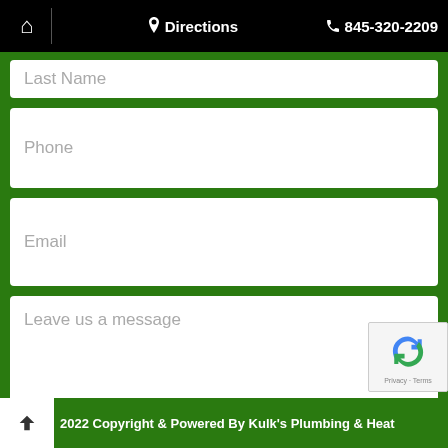🏠 | 📍 Directions  📞 845-320-2209
Last Name
Phone
Email
Leave us a message
SUBMIT
2022 Copyright & Powered By Kulk's Plumbing & Heat